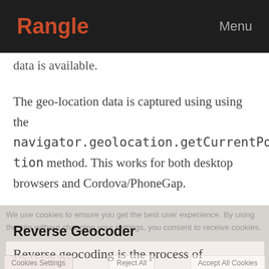Rangle | Menu
data is available.
The geo-location data is captured using using the navigator.geolocation.getCurrentPosition method. This works for both desktop browsers and Cordova/PhoneGap.
We use cookies to ensure you get the best user experience. By using the site without changing your settings, you consent to receive cookies.
Reverse Geocoder
Reverse geocoding is the process of converting geographic coordinates (like